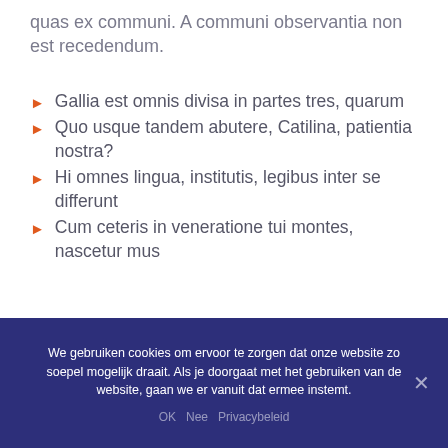quas ex communi. A communi observantia non est recedendum.
Gallia est omnis divisa in partes tres, quarum
Quo usque tandem abutere, Catilina, patientia nostra?
Hi omnes lingua, institutis, legibus inter se differunt
Cum ceteris in veneratione tui montes, nascetur mus
We gebruiken cookies om ervoor te zorgen dat onze website zo soepel mogelijk draait. Als je doorgaat met het gebruiken van de website, gaan we er vanuit dat ermee instemt.
OK  Nee  Privacybeleid